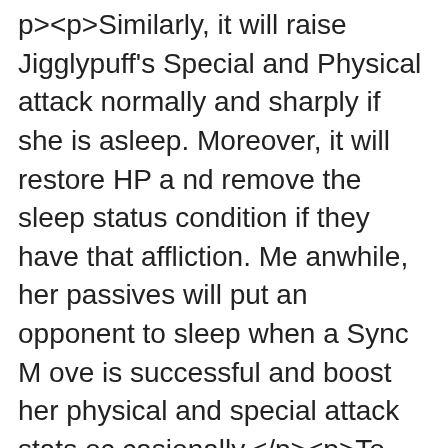p><p>Similarly, it will raise Jigglypuff's Special and Physical attack normally and sharply if she is asleep. Moreover, it will restore HP and remove the sleep status condition if they have that affliction. Meanwhile, her passives will put an opponent to sleep when a Sync Move is successful and boost her physical and special attack stats occasionally.</p><p>To commemorate their arrival, there is a Story Event that will see players collecting travel tokens through battles that can be used to move through the event map. This will net players a variety of training items including a 4-Star Power-Up, 3-Star Power-Up, Strike Move Candy Coin and Co-op Sync Orbs.</p><p>There have been a bunch of missions relating to this event added to the Poryphone which simply require you to complete designated areas a set number of times and one that's a little more challenging. Beating these will net the player some Gems and medals. Similarly, there is also a login bonus that will award 100 Gems each day for two weeks.</p><p>Pokemon Masters is available now over on the App Store and Google Play. It's a free-to-play game with in-app purchas